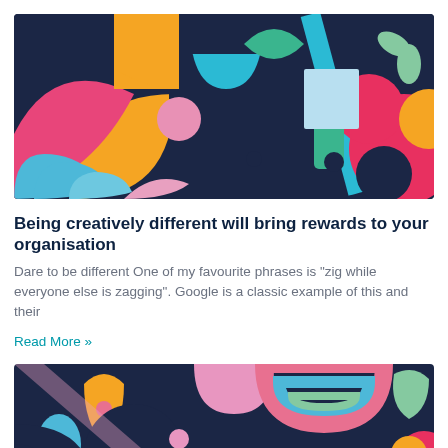[Figure (illustration): Colorful abstract geometric illustration with shapes including arches, circles, triangles, leaves in colors of orange, pink, blue, green, red, dark navy on dark background]
Being creatively different will bring rewards to your organisation
Dare to be different One of my favourite phrases is “zig while everyone else is zagging”. Google is a classic example of this and their
Read More »
[Figure (illustration): Colorful abstract geometric illustration with shapes including circles, teardrop shapes, arches and rainbow in colors of orange, pink, blue, green, red, dark navy on dark background, partially visible]